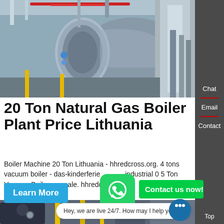[Figure (photo): Industrial natural gas boiler plant with large cylindrical metal boiler, piping, and machinery in a warehouse/factory setting]
20 Ton Natural Gas Boiler Plant Price Lithuania
Boiler Machine 20 Ton Lithuania - hhredcross.org. 4 tons vacuum boiler - das-kinderferienlager. industrial 0 5 Ton Vacuum Boiler sale. hhredcross.
[Figure (photo): Industrial boiler equipment in a factory setting, bottom section of the page]
Learn More
Contact us now!
Hey, we are live 24/7. How may I help you?
Chat
Email
Contact
Top